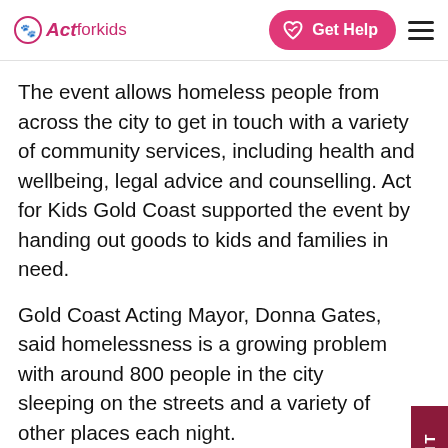Act for kids — Get Help
The event allows homeless people from across the city to get in touch with a variety of community services, including health and wellbeing, legal advice and counselling. Act for Kids Gold Coast supported the event by handing out goods to kids and families in need.
Gold Coast Acting Mayor, Donna Gates, said homelessness is a growing problem with around 800 people in the city sleeping on the streets and a variety of other places each night.
Last year it was a fantastic day where hundreds of people came out and were ab…